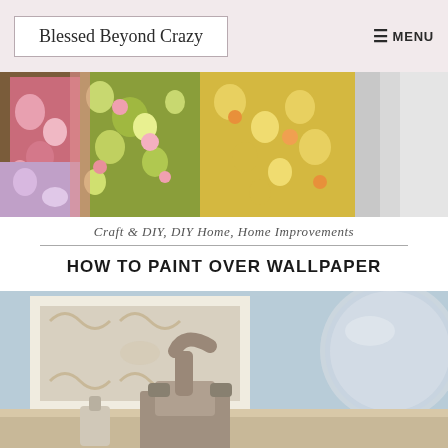Blessed Beyond Crazy  ☰ MENU
[Figure (photo): Colorful floral fabric/paper swatches in pink, green, yellow patterns on a light background, used as a category banner image]
Craft & DIY, DIY Home, Home Improvements
HOW TO PAINT OVER WALLPAPER
[Figure (photo): Bathroom sink scene with a bronze/brass faucet, ornate white framed mirror, and light blue painted wall in the background]